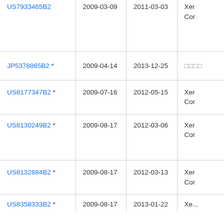| Patent Number | Filing Date | Issue Date | Assignee |
| --- | --- | --- | --- |
| US7933465B2 | 2009-03-09 | 2011-03-03 | Xer
Cor |
| JP5378865B2 * | 2009-04-14 | 2013-12-25 | □□□□ |
| US8177347B2 * | 2009-07-16 | 2012-05-15 | Xer
Cor |
| US8130249B2 * | 2009-08-17 | 2012-03-06 | Xer
Cor |
| US8132884B2 * | 2009-08-17 | 2012-03-13 | Xer
Cor |
| US8358333B2 * | 2009-08-17 | 2013-01-22 | Xe... |